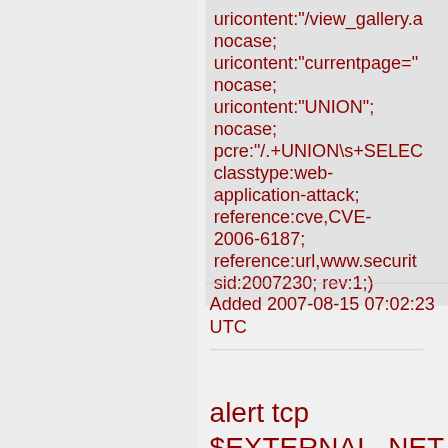uricontent:"/view_gallery.a nocase; uricontent:"currentpage=" nocase; uricontent:"UNION"; nocase; pcre:"/.+UNION\s+SELEC classtype:web-application-attack; reference:cve,CVE-2006-6187; reference:url,www.securit sid:2007230; rev:1;)
Added 2007-08-15 07:02:23 UTC
alert tcp $EXTERNAL_NET